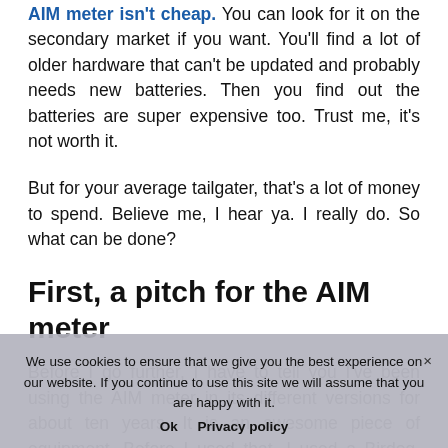secondary market if you want. You'll find a lot of older hardware that can't be updated and probably needs new batteries. Then you find out the batteries are super expensive too. Trust me, it's not worth it.
But for your average tailgater, that's a lot of money to spend. Believe me, I hear ya. I really do. So what can be done?
First, a pitch for the AIM meter
Before I go further, I have to tell you I've been using the AIM meter in its different versions for about ten years. It is an awesome piece of equipment. Before I used that, I used a Birdog, which was a very nice meter that I gave high marks to in an old
We use cookies to ensure that we give you the best experience on our website. If you continue to use this site we will assume that you are happy with it.
Ok   Privacy policy